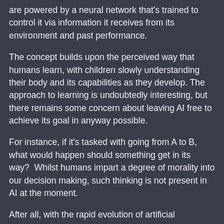are powered by a neural network that's trained to control it via information it receives from its environment and past performance.
The concept builds upon the perceived way that humans learn, with children slowly understanding their body and its capabilities as they develop. The approach to learning is undoubtedly interesting, but there remains some concern about leaving AI free to achieve its goal in anyway possible.
For instance, if it's tasked with going from A to B, what would happen should something get in its way?  Whilst humans impart a degree of morality into our decision making, such thinking is not present in AI at the moment.
After all, with the rapid evolution of artificial intelligence, it could quickly do incredible things in the attempt to meet its goal, which if poorly worded could reap significant harm.
Bostrom suggests that this can be averted by giving the AI an overarching goal of friendliness, although even that is not without difficulty.
“How exactly friendliness should be understood and how it should be implemented, and how the amity should be apportioned